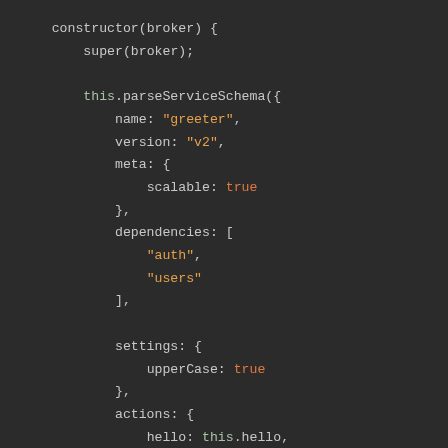[Figure (screenshot): Dark-themed code editor screenshot showing a JavaScript constructor method with parseServiceSchema call, including name, version, meta, dependencies, settings, and actions properties.]